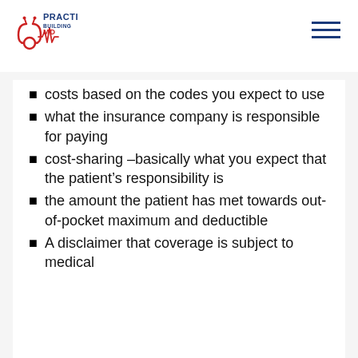[Figure (logo): Practice Building MD logo with stethoscope and heartbeat line icon in red, text PRACTICE BUILDING MD in blue and red]
costs based on the codes you expect to use
what the insurance company is responsible for paying
cost-sharing –basically what you expect that the patient's responsibility is
the amount the patient has met towards out-of-pocket maximum and deductible
A disclaimer that coverage is subject to medical